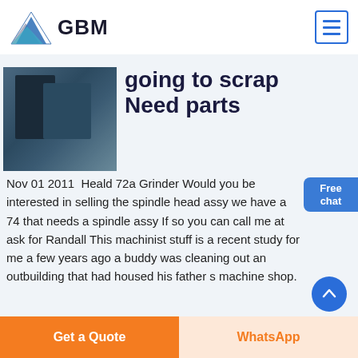[Figure (logo): GBM logo with blue/gray mountain triangle and bold GBM text]
[Figure (photo): Industrial grinding machine equipment in workshop]
going to scrap Need parts
Nov 01 2011  Heald 72a Grinder Would you be interested in selling the spindle head assy we have a 74 that needs a spindle assy If so you can call me at ask for Randall This machinist stuff is a recent study for me a few years ago a buddy was cleaning out an outbuilding that had housed his father s machine shop.
Get a Quote   WhatsApp